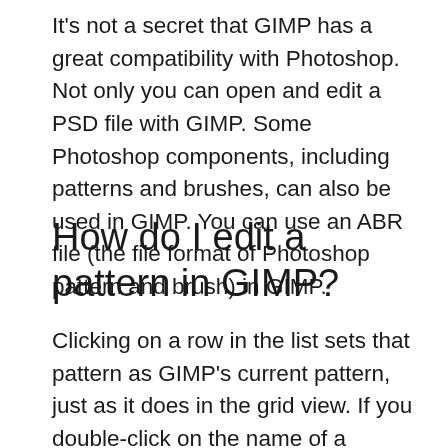It's not a secret that GIMP has a great compatibility with Photoshop. Not only you can open and edit a PSD file with GIMP. Some Photoshop components, including patterns and brushes, can also be used in GIMP. You can use an ABR file (the file format of Photoshop pattern and brush) in GIMP.
How do I edit a pattern in GIMP?
Clicking on a row in the list sets that pattern as GIMP's current pattern, just as it does in the grid view. If you double-click on the name of a pattern, you will be able to edit the name. Note that you are only allowed to rename patterns that you have added yourself, not the ones that come supplied with